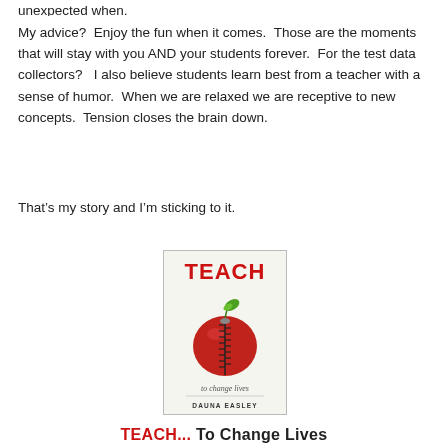unexpected when.
My advice?  Enjoy the fun when it comes.  Those are the moments that will stay with you AND your students forever.  For the test data collectors?   I also believe students learn best from a teacher with a sense of humor.  When we are relaxed we are receptive to new concepts.  Tension closes the brain down.

That’s my story and I’m sticking to it.
[Figure (illustration): Book cover for 'TEACH...To Change Lives' by Dauna Easley, featuring a red apple with a zipper and green leaf.]
TEACH...To Change Lives